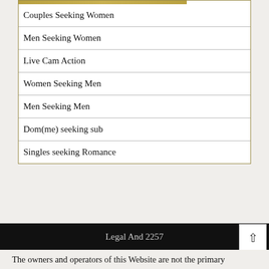| Couples Seeking Women |
| Men Seeking Women |
| Live Cam Action |
| Women Seeking Men |
| Men Seeking Men |
| Dom(me) seeking sub |
| Singles seeking Romance |
Legal And 2257
The owners and operators of this Website are not the primary producer (as